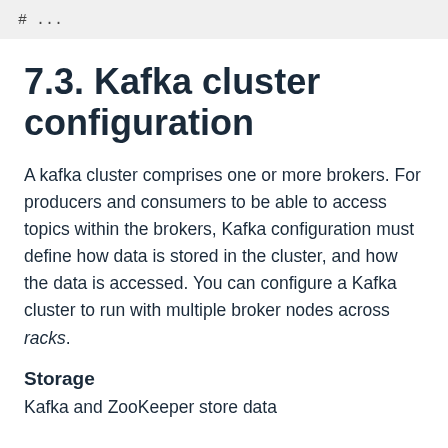# ...
7.3. Kafka cluster configuration
A kafka cluster comprises one or more brokers. For producers and consumers to be able to access topics within the brokers, Kafka configuration must define how data is stored in the cluster, and how the data is accessed. You can configure a Kafka cluster to run with multiple broker nodes across racks.
Storage
Kafka and ZooKeeper store data...